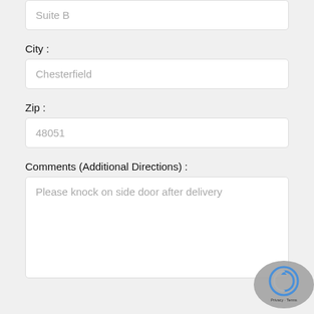Suite B
City :
Chesterfield
Zip :
48051
Comments (Additional Directions) :
Please knock on side door after delivery